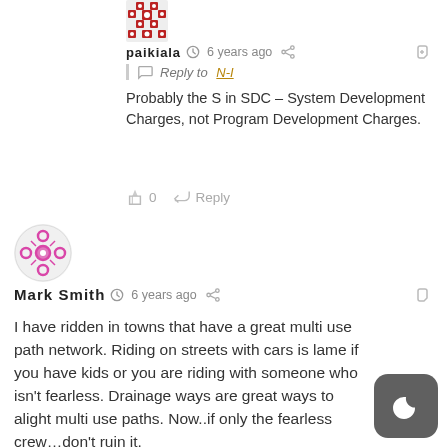[Figure (illustration): Small avatar image for paikiala user with decorative pattern]
paikiala  6 years ago
Reply to N-I
Probably the S in SDC – System Development Charges, not Program Development Charges.
0  Reply
[Figure (illustration): Avatar image for Mark Smith user with pink/magenta pattern]
Mark Smith  6 years ago
I have ridden in towns that have a great multi use path network. Riding on streets with cars is lame if you have kids or you are riding with someone who isn't fearless. Drainage ways are great ways to alight multi use paths. Now..if only the fearless crew…don't ruin it.